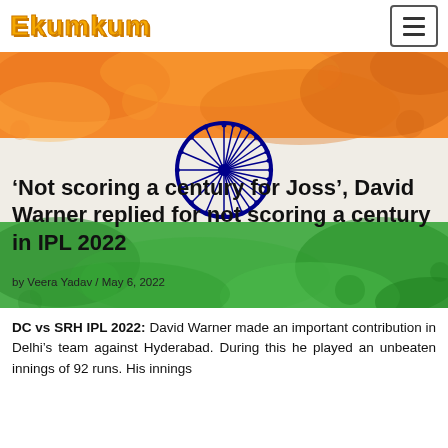Ekumkum
[Figure (illustration): Indian flag watercolor background with saffron top, white middle and green bottom bands, with a blue Ashoka Chakra (24-spoke wheel) in the center]
‘Not scoring a century for Joss’, David Warner replied for not scoring a century in IPL 2022
by Veera Yadav / May 6, 2022
DC vs SRH IPL 2022: David Warner made an important contribution in Delhi’s team against Hyderabad. During this he played an unbeaten innings of 92 runs. His innings included 10 fours and 4 sixes. During this